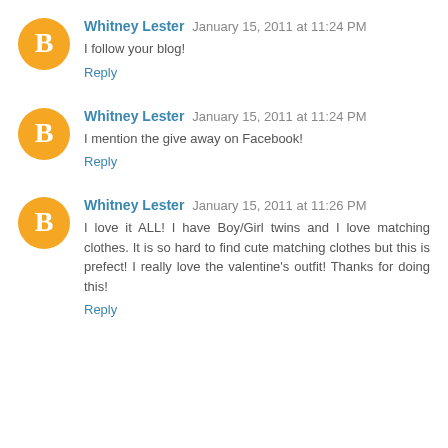Whitney Lester  January 15, 2011 at 11:24 PM
I follow your blog!
Reply
Whitney Lester  January 15, 2011 at 11:24 PM
I mention the give away on Facebook!
Reply
Whitney Lester  January 15, 2011 at 11:26 PM
I love it ALL! I have Boy/Girl twins and I love matching clothes. It is so hard to find cute matching clothes but this is prefect! I really love the valentine's outfit! Thanks for doing this!
Reply